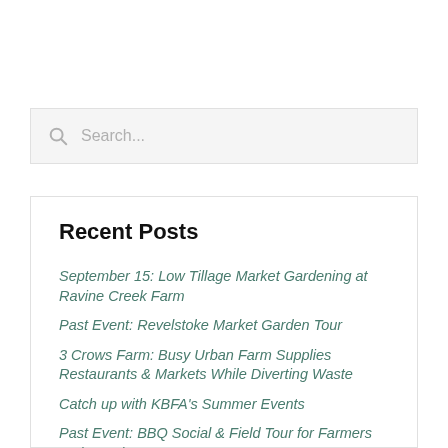Search...
Recent Posts
September 15: Low Tillage Market Gardening at Ravine Creek Farm
Past Event: Revelstoke Market Garden Tour
3 Crows Farm: Busy Urban Farm Supplies Restaurants & Markets While Diverting Waste
Catch up with KBFA's Summer Events
Past Event: BBQ Social & Field Tour for Farmers and Ranchers